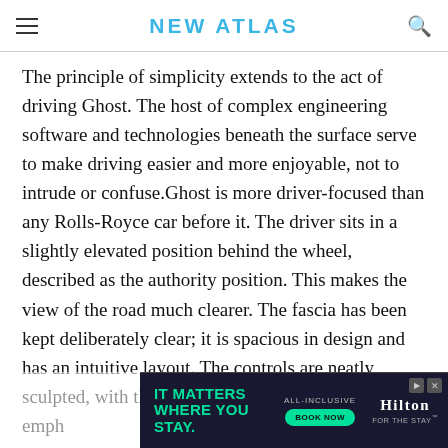NEW ATLAS
The principle of simplicity extends to the act of driving Ghost. The host of complex engineering software and technologies beneath the surface serve to make driving easier and more enjoyable, not to intrude or confuse.Ghost is more driver-focused than any Rolls-Royce car before it. The driver sits in a slightly elevated position behind the wheel, described as the authority position. This makes the view of the road much clearer. The fascia has been kept deliberately clear; it is spacious in design and has an intuitive layout. The controls are neatly sculpted, with the more important functions emph...t of the in...r
[Figure (other): Hilton advertisement banner: IT MATTERS WHERE YOU STAY. ALL-INCLUSIVE BOOK NOW. Hilton FOR THE STAY.]